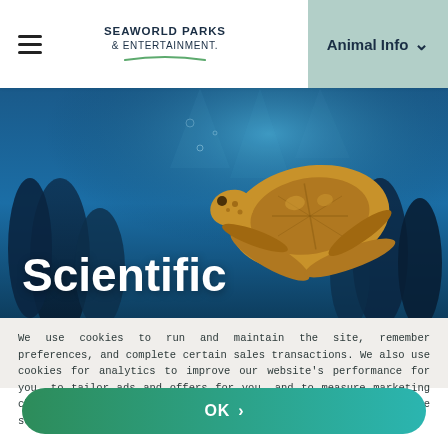SeaWorld Parks & Entertainment — Animal Info
[Figure (photo): Underwater photograph of a sea turtle swimming over a dark blue coral reef background, with the word 'Scientific' overlaid in large white bold text at the bottom left.]
We use cookies to run and maintain the site, remember preferences, and complete certain sales transactions. We also use cookies for analytics to improve our website's performance for you, to tailor ads and offers for you, and to measure marketing choices. Learn more about our cookies here. You may update cookie settings here or select "OK" to continue with default settings.